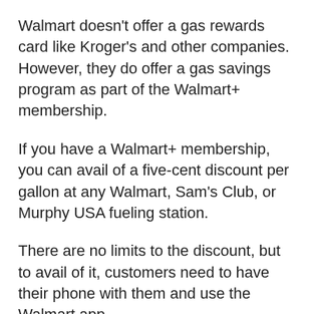Walmart doesn't offer a gas rewards card like Kroger's and other companies. However, they do offer a gas savings program as part of the Walmart+ membership.
If you have a Walmart+ membership, you can avail of a five-cent discount per gallon at any Walmart, Sam's Club, or Murphy USA fueling station.
There are no limits to the discount, but to avail of it, customers need to have their phone with them and use the Walmart app.
You Might Find These Useful Too